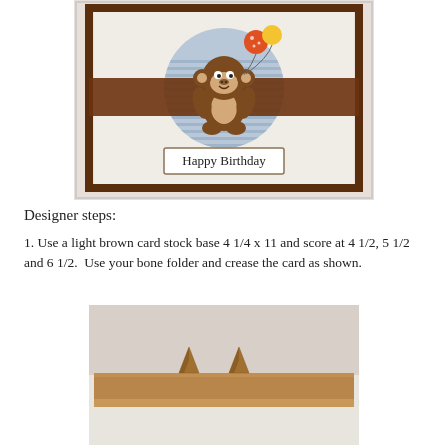[Figure (photo): A handmade birthday card featuring a cute cartoon monkey sitting on a brown band across a blue circle with stripes. The monkey holds balloons and there is a 'Happy Birthday' label at the bottom. The card background has an embossed pattern.]
Designer steps:
1. Use a light brown card stock base 4 1/4 x 11 and score at 4 1/2, 5 1/2 and 6 1/2.  Use your bone folder and crease the card as shown.
[Figure (photo): A photo showing a piece of light brown card stock that has been scored and folded into an accordion/step fold shape, lying flat on a white surface.]